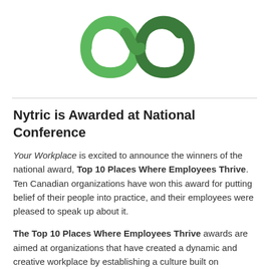[Figure (logo): Green infinity-like loop logo mark, two intertwined green swoosh shapes]
Nytric is Awarded at National Conference
Your Workplace is excited to announce the winners of the national award, Top 10 Places Where Employees Thrive. Ten Canadian organizations have won this award for putting belief of their people into practice, and their employees were pleased to speak up about it.
The Top 10 Places Where Employees Thrive awards are aimed at organizations that have created a dynamic and creative workplace by establishing a culture built on